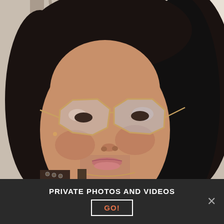[Figure (photo): Selfie of a young woman with long black hair wearing large gold-framed clear lens glasses and a gold necklace, wearing a dark top with metallic grommets. Background is light/white interior.]
PRIVATE PHOTOS AND VIDEOS
GO!